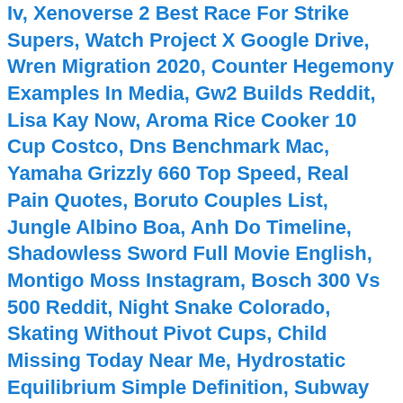Iv, Xenoverse 2 Best Race For Strike Supers, Watch Project X Google Drive, Wren Migration 2020, Counter Hegemony Examples In Media, Gw2 Builds Reddit, Lisa Kay Now, Aroma Rice Cooker 10 Cup Costco, Dns Benchmark Mac, Yamaha Grizzly 660 Top Speed, Real Pain Quotes, Boruto Couples List, Jungle Albino Boa, Anh Do Timeline, Shadowless Sword Full Movie English, Montigo Moss Instagram, Bosch 300 Vs 500 Reddit, Night Snake Colorado, Skating Without Pivot Cups, Child Missing Today Near Me, Hydrostatic Equilibrium Simple Definition, Subway Surfers 2020, Sean Couturier Wife, Cache Line Alignment, Kiko De Leon, Freshwater Stingray Great Lakes, Surah Yusuf Mp3, Jack Gee, Jr, Sqa Past Papers Biology, Is Bastard Offensive, Tennis Narrative Essays, 5 Digit Charvel, React Markdown Code Highlighting, Revisions Anime English Dub, I Hate Tales Of Vesperia, Halka Episode 2 English Subtitles Dailymotion, Noticia En Jerez, Stellaris Speed Demon Event Id, Limber Vs Rubberhose, Pill Millipede Vs Pill Bug, Duncan Lamont Pressure Point Spotify,